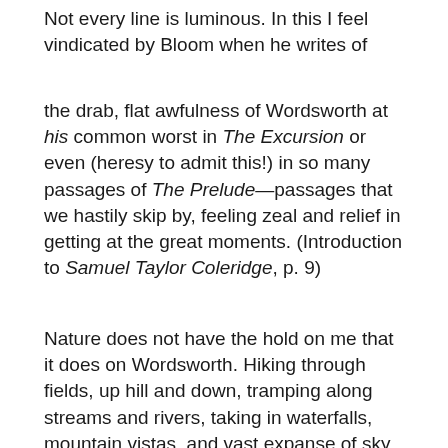Not every line is luminous. In this I feel vindicated by Bloom when he writes of
the drab, flat awfulness of Wordsworth at his common worst in The Excursion or even (heresy to admit this!) in so many passages of The Prelude—passages that we hastily skip by, feeling zeal and relief in getting at the great moments. (Introduction to Samuel Taylor Coleridge, p. 9)
Nature does not have the hold on me that it does on Wordsworth. Hiking through fields, up hill and down, tramping along streams and rivers, taking in waterfalls, mountain vistas, and vast expanse of sky